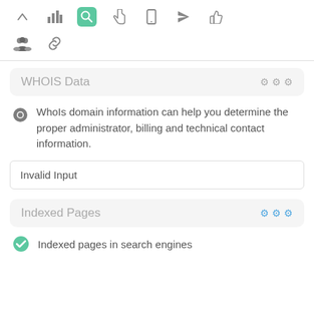[Figure (screenshot): Toolbar with icons: up arrow, bar chart, search (active/green), hand pointer, mobile, send/rocket, thumbs up, group/people, chain link]
WHOIS Data
WhoIs domain information can help you determine the proper administrator, billing and technical contact information.
Invalid Input
Indexed Pages
Indexed pages in search engines